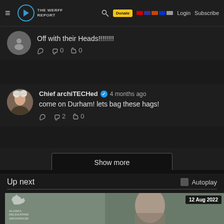The Werff Report — Login | Subscribe | Donate
Off with their Heads!!!!!!!!
👍0 👎0
Chief archiTECHed ✓ 4 months ago
come on Durham! lets bag these hags!
💬 👍2 👎0
Show more
Up next   Autoplay
[Figure (screenshot): Video thumbnail showing a person, with date badge '12 Aug 2022' and Alaska-related watermark in bottom-left]